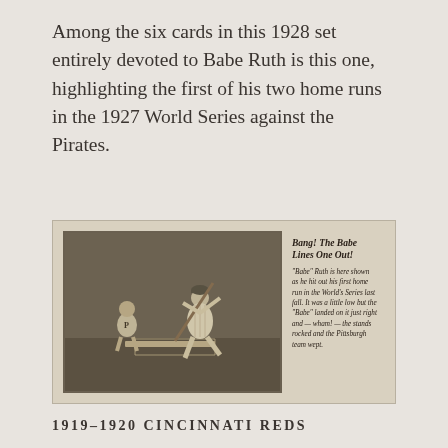Among the six cards in this 1928 set entirely devoted to Babe Ruth is this one, highlighting the first of his two home runs in the 1927 World Series against the Pirates.
[Figure (photo): A vintage baseball card showing Babe Ruth hitting at home plate with a Pittsburgh Pirates catcher, alongside card text reading 'Bang! The Babe Lines One Out!' with descriptive copy about his first home run in the 1927 World Series.]
1919–1920 CINCINNATI REDS